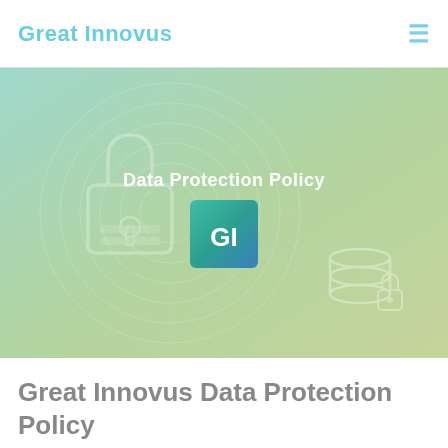Great Innovus
[Figure (illustration): Hero banner with gradient green background, decorative circular lock pattern, 'Data Protection Policy' text overlay, GI logo box, and database with lock icon in the lower right corner]
Great Innovus Data Protection Policy